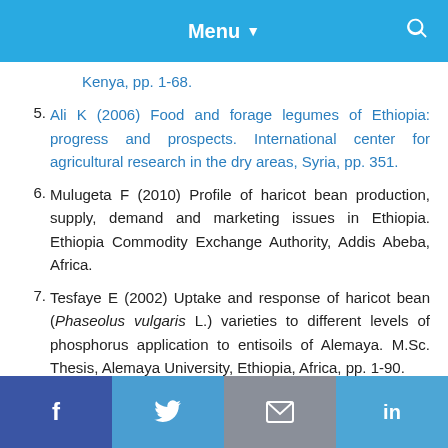Menu
Kenya, pp. 1-68.
5. Ali K (2006) Food and forage legumes of Ethiopia: progress and prospects. International center for agricultural research in the dry areas, Syria, pp. 351.
6. Mulugeta F (2010) Profile of haricot bean production, supply, demand and marketing issues in Ethiopia. Ethiopia Commodity Exchange Authority, Addis Abeba, Africa.
7. Tesfaye E (2002) Uptake and response of haricot bean (Phaseolus vulgaris L.) varieties to different levels of phosphorus application to entisoils of Alemaya. M.Sc. Thesis, Alemaya University, Ethiopia, Africa, pp. 1-90.